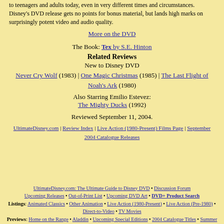to teenagers and adults today, even in very different times and circumstances. Disney's DVD release gets no points for bonus material, but lands high marks on surprisingly potent video and audio quality.
More on the DVD
The Book: Tex by S.E. Hinton
Related Reviews
New to Disney DVD
Never Cry Wolf (1983) | One Magic Christmas (1985) | The Last Flight of Noah's Ark (1980)
Also Starring Emilio Estevez: The Mighty Ducks (1992)
Reviewed September 11, 2004.
UltimateDisney.com | Review Index | Live Action (1980-Present) Films Page | September 2004 Catalogue Releases
UltimateDisney.com: The Ultimate Guide to Disney DVD • Discussion Forum Upcoming Releases • Out-of-Print List • Upcoming DVD Art • DVD+ Product Search Listings: Animated Classics • Other Animation • Live Action (1980-Present) • Live Action (Pre-1980) • Direct-to-Video • TV Movies Previews: Home on the Range • Aladdin • Upcoming Special Editions • 2004 Catalogue Titles • Summer